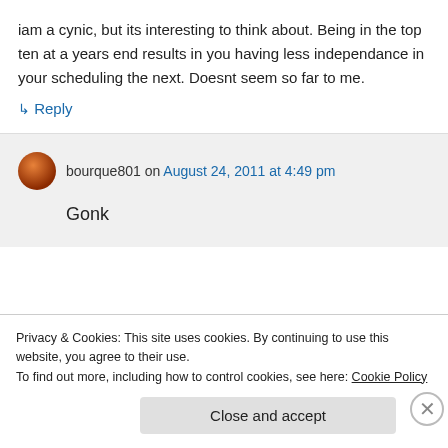iam a cynic, but its interesting to think about. Being in the top ten at a years end results in you having less independance in your scheduling the next. Doesnt seem so far to me.
↳ Reply
bourque801 on August 24, 2011 at 4:49 pm
Gonk
Privacy & Cookies: This site uses cookies. By continuing to use this website, you agree to their use.
To find out more, including how to control cookies, see here: Cookie Policy
Close and accept